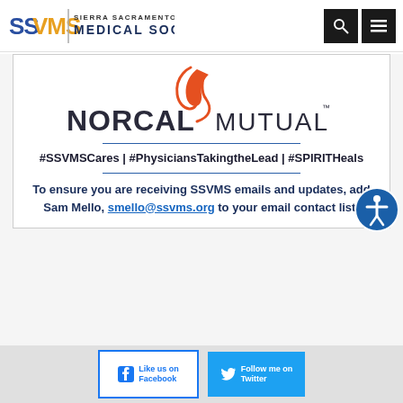[Figure (logo): Sierra Sacramento Valley Medical Society (SSVMS) logo with stylized text and icon, plus search and menu buttons in header]
[Figure (logo): NORCAL MUTUAL logo with orange swoosh/flame icon above dark gray text]
#SSVMSCares | #PhysiciansTakingtheLead | #SPIRITHeals
To ensure you are receiving SSVMS emails and updates, add Sam Mello, smello@ssvms.org to your email contact list!
[Figure (illustration): Facebook Like us on Facebook button and Twitter Follow me on Twitter button in gray footer strip]